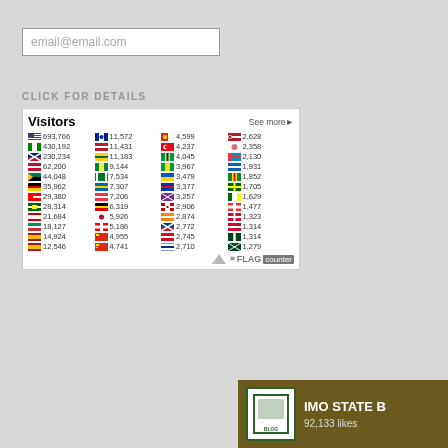email@email.com
CLICK FOR DETAILS
[Figure (other): Flag Counter widget showing Visitors count by country. Title: Visitors, See more link. Countries listed with flag icons and counts: 693,766 | 11,572 | 4,599 | 2,628 | 430,192 | 11,431 | 4,237 | 2,358 | 230,234 | 11,183 | 4,045 | 2,130 | 62,200 | 9,144 | 3,967 | 1,931 | 44,048 | 7,534 | 3,479 | 1,852 | 35,962 | 7,307 | 3,377 | 1,705 | 29,380 | 7,206 | 3,257 | 1,629 | 28,314 | 6,319 | 2,906 | 1,477 | 21,684 | 5,926 | 2,874 | 1,323 | 18,127 | 5,186 | 2,772 | 1,314 | 14,924 | 4,955 | 2,745 | 1,314 | 12,546 | 4,741 | 2,710 | 1,279. FLAG counter logo at bottom right.]
[Figure (other): IMO STATE BLOG logo box with dark olive/brown background, white logo image on left, text IMO STATE B... and 92,133 likes on the right.]